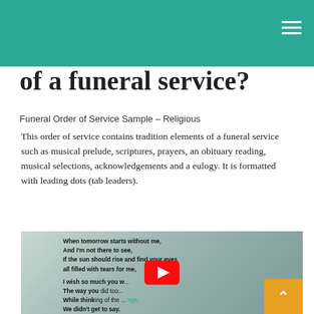of a funeral service?
Funeral Order of Service Sample – Religious
This order of service contains tradition elements of a funeral service such as musical prelude, scriptures, prayers, an obituary reading, musical selections, acknowledgements and a eulogy. It is formatted with leading dots (tab leaders).
[Figure (photo): Image of a scenic ocean/coastal view with poem text overlay. Text reads: When tomorrow starts without me, And I'm not there to see, If the sun should rise and find your eyes all filled with tears for me, I wish so much you w... The way you did too... While thinking of the ... things, We didn't get to say. I know how much you love me, As much as I love you, and each time that you think of me, I know you'll miss me too. A YouTube play button overlay is visible in the center, and an orange scroll-to-top button is in the bottom right corner.]